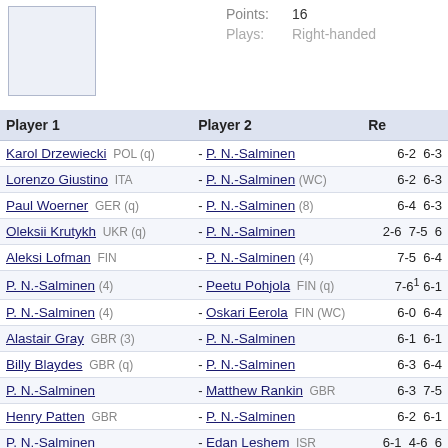Points: 16
Plays: Right-handed
| Player 1 | Player 2 | Re |
| --- | --- | --- |
| Karol Drzewiecki POL (q) | P. N.-Salminen | 6-2 6-3 |
| Lorenzo Giustino ITA | P. N.-Salminen (WC) | 6-2 6-3 |
| Paul Woerner GER (q) | P. N.-Salminen (8) | 6-4 6-3 |
| Oleksii Krutykh UKR (q) | P. N.-Salminen | 2-6 7-5 6- |
| Aleksi Lofman FIN | P. N.-Salminen (4) | 7-5 6-4 |
| P. N.-Salminen (4) | Peetu Pohjola FIN (q) | 7-6¹ 6-1 |
| P. N.-Salminen (4) | Oskari Eerola FIN (WC) | 6-0 6-4 |
| Alastair Gray GBR (3) | P. N.-Salminen | 6-1 6-1 |
| Billy Blaydes GBR (q) | P. N.-Salminen | 6-3 6-4 |
| P. N.-Salminen | Matthew Rankin GBR | 6-3 7-5 |
| Henry Patten GBR | P. N.-Salminen | 6-2 6-1 |
| P. N.-Salminen | Edan Leshem ISR | 6-1 4-6 6- |
| Colin Sinclair AUS (4) | P. N.-Salminen | 7-5 7-6³ |
| P. N.-Salminen | Luca Fantini ITA (q) | 6-4 6-4 |